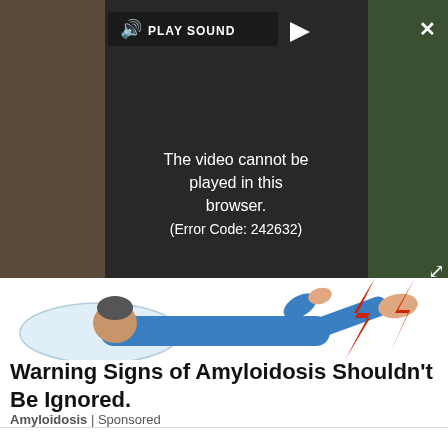[Figure (screenshot): Video player showing error message 'The video cannot be played in this browser. (Error Code: 242632)' with play sound button and close/expand controls on dark background]
[Figure (illustration): Medical illustration of a person lying down in blue clothing experiencing pain, with a red lightning bolt symbol near their leg/foot area, lying on a pillow]
Warning Signs of Amyloidosis Shouldn't Be Ignored.
Amyloidosis | Sponsored